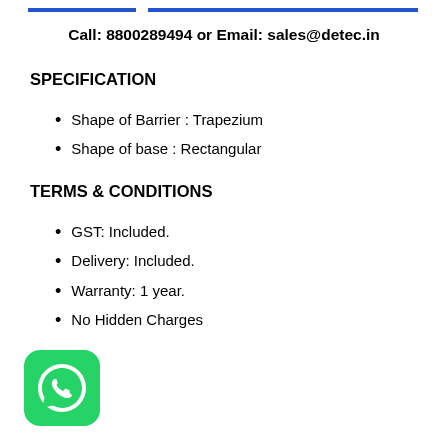Call: 8800289494 or Email: sales@detec.in
SPECIFICATION
Shape of Barrier : Trapezium
Shape of base : Rectangular
TERMS & CONDITIONS
GST: Included.
Delivery: Included.
Warranty: 1 year.
No Hidden Charges
[Figure (logo): WhatsApp icon - green rounded square with white phone handset]